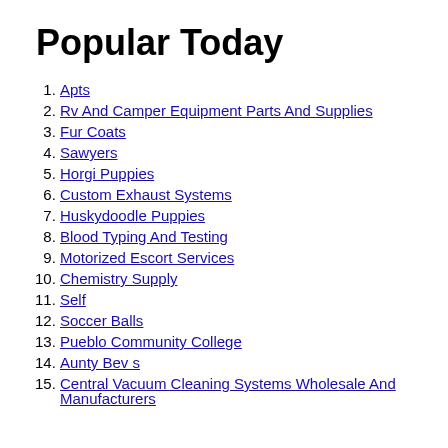Popular Today
Apts
Rv And Camper Equipment Parts And Supplies
Fur Coats
Sawyers
Horgi Puppies
Custom Exhaust Systems
Huskydoodle Puppies
Blood Typing And Testing
Motorized Escort Services
Chemistry Supply
Self
Soccer Balls
Pueblo Community College
Aunty Bev s
Central Vacuum Cleaning Systems Wholesale And Manufacturers